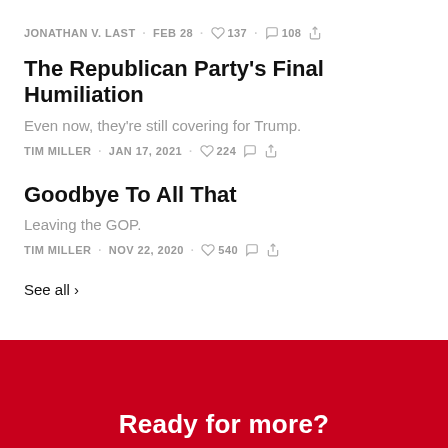JONATHAN V. LAST · FEB 28 · ♡ 137 · ○ 108
The Republican Party's Final Humiliation
Even now, they're still covering for Trump.
TIM MILLER · JAN 17, 2021 · ♡ 224
Goodbye To All That
Leaving the GOP.
TIM MILLER · NOV 22, 2020 · ♡ 540
See all ›
Ready for more?